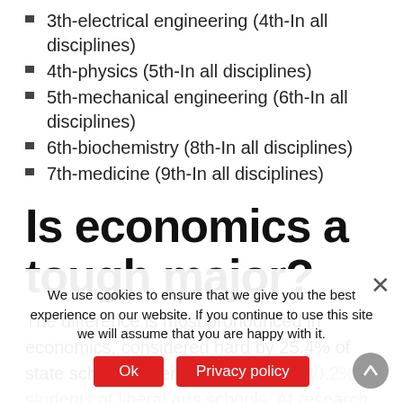3th-electrical engineering (4th-In all disciplines)
4th-physics (5th-In all disciplines)
5th-mechanical engineering (6th-In all disciplines)
6th-biochemistry (8th-In all disciplines)
7th-medicine (9th-In all disciplines)
Is economics a tough major?
The difference is most pronounced in economics, considered hard by 25.4% of state school students compared to 40.2% of students at liberal arts schools. At research liberal arts school, the major was considered even harder: 44.2% of students considered the economics major hard.
We use cookies to ensure that we give you the best experience on our website. If you continue to use this site we will assume that you are happy with it.